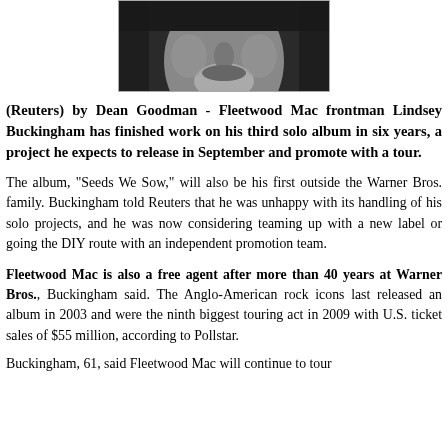[Figure (photo): Black and white close-up photograph of a man's face, cropped showing chin, mouth area and lower face against dark background]
(Reuters) by Dean Goodman - Fleetwood Mac frontman Lindsey Buckingham has finished work on his third solo album in six years, a project he expects to release in September and promote with a tour.
The album, "Seeds We Sow," will also be his first outside the Warner Bros. family. Buckingham told Reuters that he was unhappy with its handling of his solo projects, and he was now considering teaming up with a new label or going the DIY route with an independent promotion team.
Fleetwood Mac is also a free agent after more than 40 years at Warner Bros., Buckingham said. The Anglo-American rock icons last released an album in 2003 and were the ninth biggest touring act in 2009 with U.S. ticket sales of $55 million, according to Pollstar.
Buckingham, 61, said Fleetwood Mac will continue to tour...